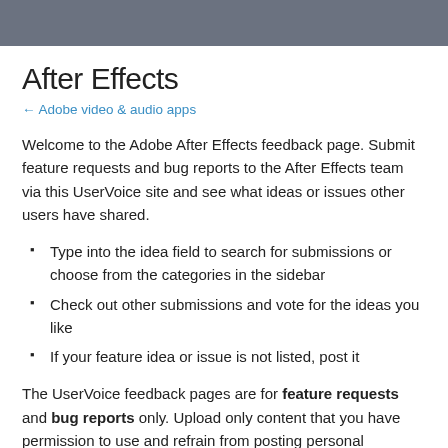After Effects
← Adobe video & audio apps
Welcome to the Adobe After Effects feedback page. Submit feature requests and bug reports to the After Effects team via this UserVoice site and see what ideas or issues other users have shared.
Type into the idea field to search for submissions or choose from the categories in the sidebar
Check out other submissions and vote for the ideas you like
If your feature idea or issue is not listed, post it
The UserVoice feedback pages are for feature requests and bug reports only. Upload only content that you have permission to use and refrain from posting personal information (e.g. address, phone number, email, or credit card) or abusive content